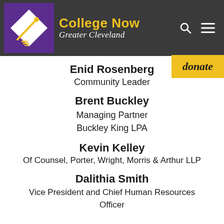College Now Greater Cleveland
Enid Rosenberg
Community Leader
Brent Buckley
Managing Partner
Buckley King LPA
Kevin Kelley
Of Counsel, Porter, Wright, Morris & Arthur LLP
Dalithia Smith
Vice President and Chief Human Resources Officer